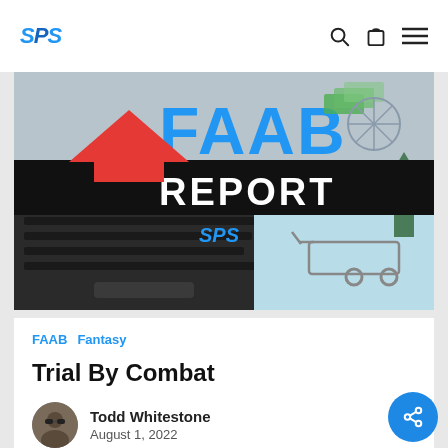SPS — navigation bar with search, bag, and menu icons
[Figure (illustration): FAAB Report banner image with large blue 'FAAB' text, 'REPORT' on black band, red downward arrow, green upward arrow, SPS logo, laptop keyboard, and mini shopping cart on light blue background]
FAAB  Fantasy
Trial By Combat
Todd Whitestone
August 1, 2022